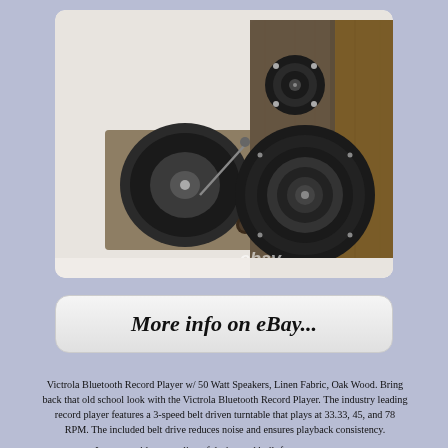[Figure (photo): Victrola Bluetooth record player with 50 watt speakers, linen fabric and oak wood finish. Shows turntable and bookshelf speaker. eBay watermark visible.]
More info on eBay...
Victrola Bluetooth Record Player w/ 50 Watt Speakers, Linen Fabric, Oak Wood. Bring back that old school look with the Victrola Bluetooth Record Player. The industry leading record player features a 3-speed belt driven turntable that plays at 33.33, 45, and 78 RPM. The included belt drive reduces noise and ensures playback consistency.
It comes with a great line of design and built for your average...